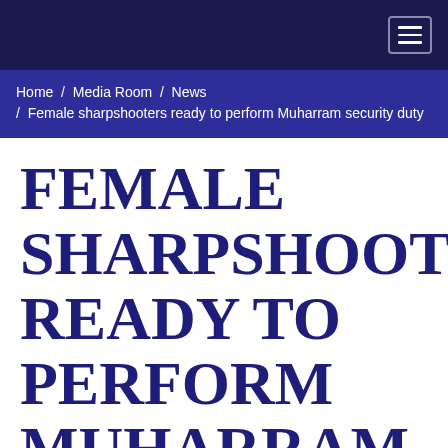Home / Media Room / News / Female sharpshooters ready to perform Muharram security duty
FEMALE SHARPSHOOTERS READY TO PERFORM MUHARRAM SECURITY DUTY
Sep 02, 2019